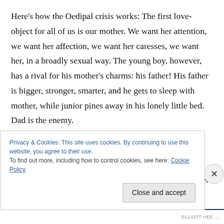Here's how the Oedipal crisis works: The first love-object for all of us is our mother. We want her attention, we want her affection, we want her caresses, we want her, in a broadly sexual way. The young boy, however, has a rival for his mother's charms: his father! His father is bigger, stronger, smarter, and he gets to sleep with mother, while junior pines away in his lonely little bed. Dad is the enemy.
About the time the little boy recognizes this archetypal situation, he has become aware of some of the more subtle differences between boys and girls, the ones other
Privacy & Cookies: This site uses cookies. By continuing to use this website, you agree to their use.
To find out more, including how to control cookies, see here: Cookie Policy
Close and accept